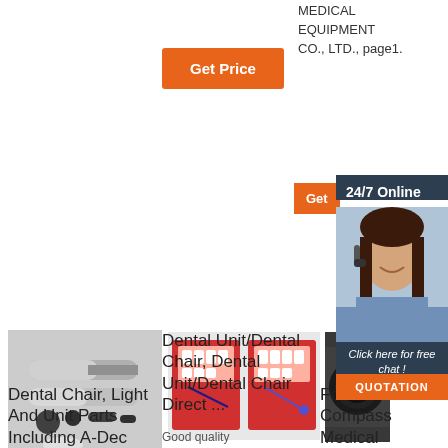MEDICAL EQUIPMENT CO., LTD., page1.
Get Price
Get
24/7 Online
[Figure (photo): Customer service agent with headset smiling]
Click here for free chat !
QUOTATION
[Figure (photo): Dental handpieces and accessories on white background]
[Figure (photo): Dental unit/chair product cards shown on red background]
[Figure (photo): Camera or medical optical device, dark]
Dental Chair, Light And Unit Parts Including A-Dec
Dental Unit/Dental Chair, Dental Unit/Dental Chair Direct ...
Good quality
Fosh Compass Medical Instruments Co., Ltd. - Dental ...